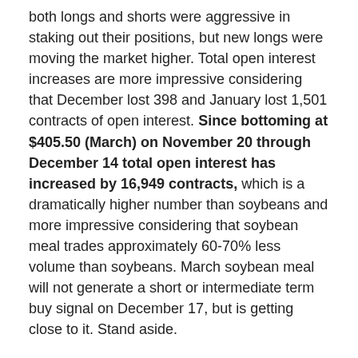both longs and shorts were aggressive in staking out their positions, but new longs were moving the market higher. Total open interest increases are more impressive considering that December lost 398 and January lost 1,501 contracts of open interest. Since bottoming at $405.50 (March) on November 20 through December 14 total open interest has increased by 16,949 contracts, which is a dramatically higher number than soybeans and more impressive considering that soybean meal trades approximately 60-70% less volume than soybeans. March soybean meal will not generate a short or intermediate term buy signal on December 17, but is getting close to it. Stand aside.
Corn: